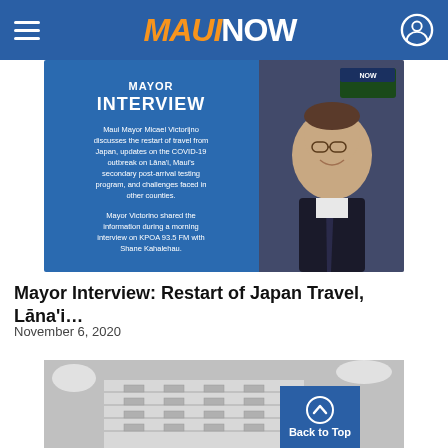MAUI NOW
[Figure (screenshot): Mayor Interview promotional image with text overlay on blue background and photo of Maui Mayor Micael Victorijno. Text reads: MAYOR INTERVIEW. Maui Mayor Micael Victorijno discusses the restart of travel from Japan, updates on the COVID-19 outbreak on Lāna'i, Maui's secondary post-arrival testing program, and challenges faced in other counties. Mayor Victorino shared the information during a morning interview on KPOA 93.5 FM with Shane Kahalehau. KPOA logo visible.]
Mayor Interview: Restart of Japan Travel, Lāna'i…
November 6, 2020
[Figure (photo): Black and white photo of a multi-story apartment or hotel building exterior with balconies against a cloudy sky.]